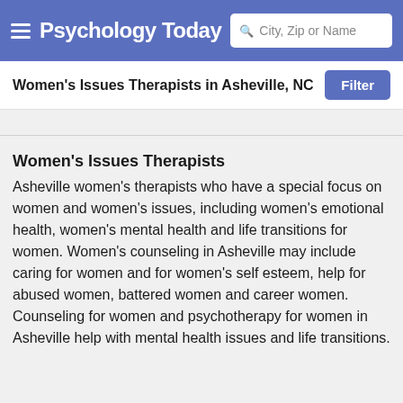Psychology Today — City, Zip or Name search
Women's Issues Therapists in Asheville, NC
Women's Issues Therapists
Asheville women's therapists who have a special focus on women and women's issues, including women's emotional health, women's mental health and life transitions for women. Women's counseling in Asheville may include caring for women and for women's self esteem, help for abused women, battered women and career women. Counseling for women and psychotherapy for women in Asheville help with mental health issues and life transitions.